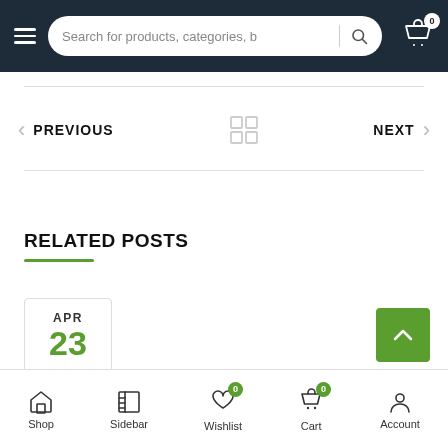Search for products, categories, b
[Figure (screenshot): Navigation row with PREVIOUS and NEXT buttons and a 2x2 grid icon in the center]
RELATED POSTS
[Figure (other): Date card showing APR 23]
Shop | Sidebar | Wishlist | Cart | Account